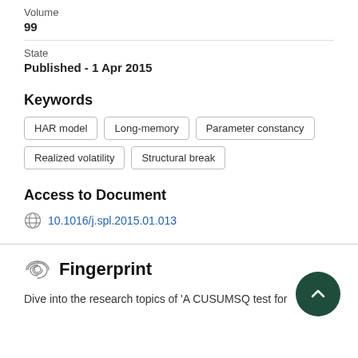Volume
99
State
Published - 1 Apr 2015
Keywords
HAR model
Long-memory
Parameter constancy
Realized volatility
Structural break
Access to Document
10.1016/j.spl.2015.01.013
Fingerprint
Dive into the research topics of 'A CUSUMSQ test for